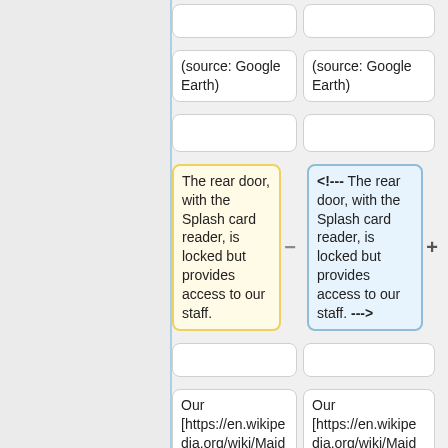(source: Google Earth)
(source: Google Earth)
The rear door, with the Splash card reader, is locked but provides access to our staff.
<!-- The rear door, with the Splash card reader, is locked but provides access to our staff. --->
Our [https://en.wikipedia.org/wiki/Maidenhead_Locator_System Maidenhead grid locator] is
Our [https://en.wikipedia.org/wiki/Maidenhead_Locator_System Maidenhead grid locator] is